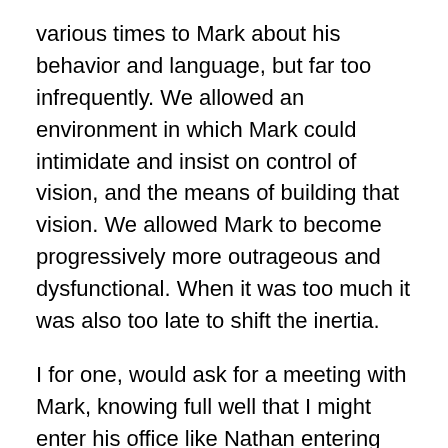various times to Mark about his behavior and language, but far too infrequently. We allowed an environment in which Mark could intimidate and insist on control of vision, and the means of building that vision. We allowed Mark to become progressively more outrageous and dysfunctional. When it was too much it was also too late to shift the inertia.
I for one, would ask for a meeting with Mark, knowing full well that I might enter his office like Nathan entering David's chamber to confront him about Bathsheba. Nathan feared for his life. Well, I didn't fear for my life, but I did for my livelihood.
When dismissed or fired, some believed fervently, as I did, that it was important to not complain in the public media. They sought instead opportunity to speak to peer